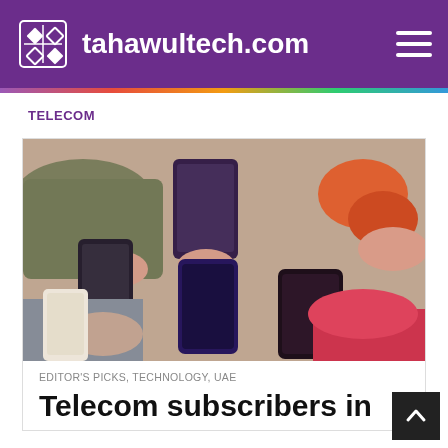tahawultech.com
TELECOM
[Figure (photo): Multiple people sitting around a table each holding smartphones, viewed from above]
EDITOR'S PICKS, TECHNOLOGY, UAE
Telecom subscribers in